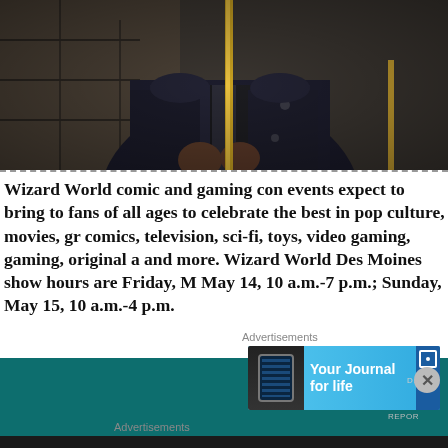[Figure (photo): Person in dark jacket holding a gold/brass staff or rod, photographed from chest level down, blurred background of stone or wall structure]
Wizard World comic and gaming con events expect to bring to fans of all ages to celebrate the best in pop culture, movies, gr comics, television, sci-fi, toys, video gaming, gaming, original a and more. Wizard World Des Moines show hours are Friday, M May 14, 10 a.m.-7 p.m.; Sunday, May 15, 10 a.m.-4 p.m.
[Figure (screenshot): Advertisement banner: 'Your Journal for life' with phone image and DAVO branding on cyan/light blue background]
[Figure (screenshot): Advertisement banner: 'Turn your blog into a money-making online course.' with arrow on dark background]